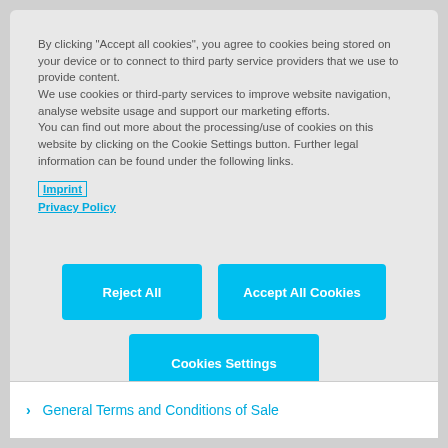By clicking "Accept all cookies", you agree to cookies being stored on your device or to connect to third party service providers that we use to provide content.
We use cookies or third-party services to improve website navigation, analyse website usage and support our marketing efforts.
You can find out more about the processing/use of cookies on this website by clicking on the Cookie Settings button. Further legal information can be found under the following links.
Imprint
Privacy Policy
Reject All
Accept All Cookies
Cookies Settings
> General Terms and Conditions of Sale